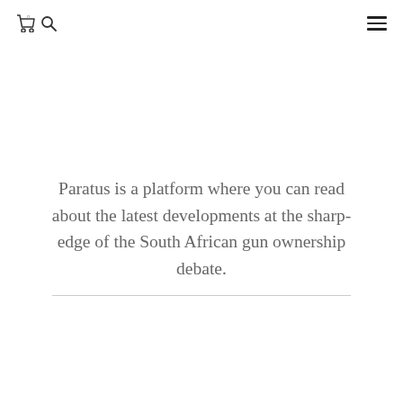[cart icon] [search icon] [hamburger menu]
Paratus is a platform where you can read about the latest developments at the sharp-edge of the South African gun ownership debate.